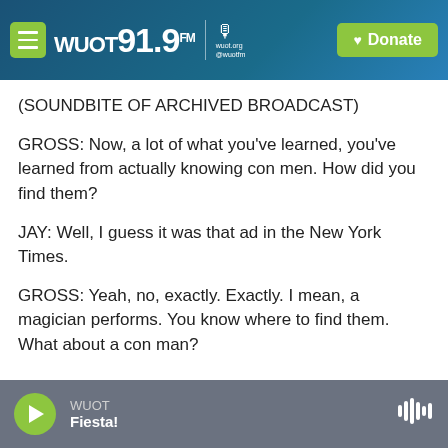[Figure (screenshot): WUOT 91.9 FM radio station website header with green menu button, station logo, microphone icon with wuot.org and @wuotfm text, and green Donate button with heart icon, on a blue gradient background]
(SOUNDBITE OF ARCHIVED BROADCAST)
GROSS: Now, a lot of what you've learned, you've learned from actually knowing con men. How did you find them?
JAY: Well, I guess it was that ad in the New York Times.
GROSS: Yeah, no, exactly. Exactly. I mean, a magician performs. You know where to find them. What about a con man?
WUOT Fiesta!